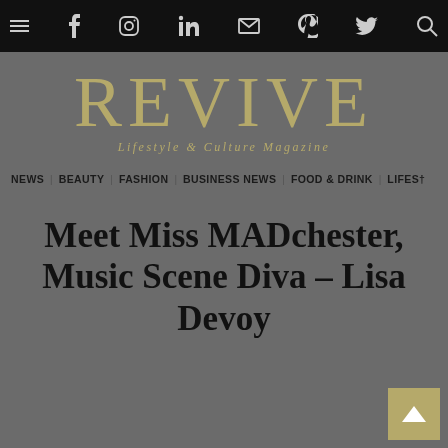Navigation bar with social icons: menu, facebook, instagram, linkedin, email, pinterest, twitter, search
REVIVE
Lifestyle & Culture Magazine
NEWS  BEAUTY  FASHION  BUSINESS NEWS  FOOD & DRINK  LIFES†
Meet Miss MADchester, Music Scene Diva – Lisa Devoy